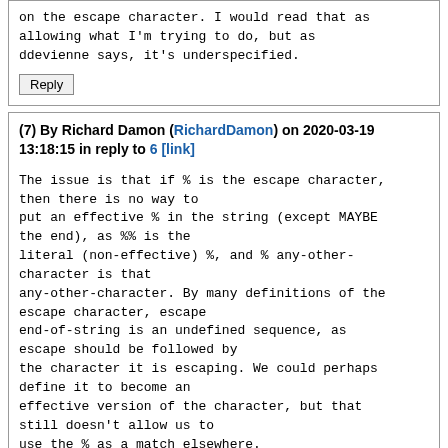on the escape character. I would read that as allowing what I'm trying to do, but as ddevienne says, it's underspecified.
Reply
(7) By Richard Damon (RichardDamon) on 2020-03-19 13:18:15 in reply to 6 [link]
The issue is that if % is the escape character, then there is no way to
put an effective % in the string (except MAYBE the end), as %% is the
literal (non-effective) %, and % any-other-character is that
any-other-character. By many definitions of the escape character, escape
end-of-string is an undefined sequence, as escape should be followed by
the character it is escaping. We could perhaps define it to become an
effective version of the character, but that still doesn't allow us to
use the % as a match elsewhere.